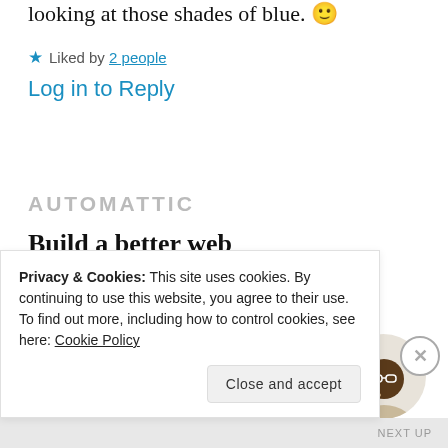looking at those shades of blue. 🙂
★ Liked by 2 people
Log in to Reply
AUTOMATTIC
Build a better web and a better world.
[Figure (photo): Circular portrait photo of a person wearing glasses, looking upward thoughtfully, against a light beige background.]
Apply
Privacy & Cookies: This site uses cookies. By continuing to use this website, you agree to their use.
To find out more, including how to control cookies, see here: Cookie Policy
Close and accept